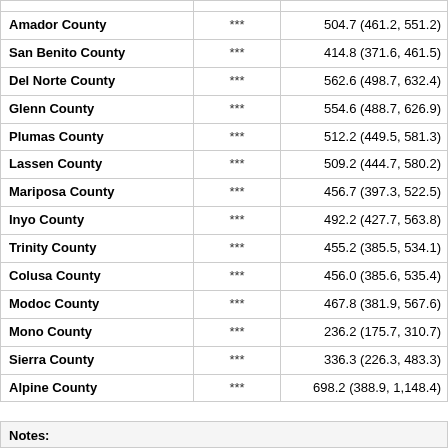|  |  |  |
| --- | --- | --- |
| Amador County | *** | 504.7 (461.2, 551.2) |
| San Benito County | *** | 414.8 (371.6, 461.5) |
| Del Norte County | *** | 562.6 (498.7, 632.4) |
| Glenn County | *** | 554.6 (488.7, 626.9) |
| Plumas County | *** | 512.2 (449.5, 581.3) |
| Lassen County | *** | 509.2 (444.7, 580.2) |
| Mariposa County | *** | 456.7 (397.3, 522.5) |
| Inyo County | *** | 492.2 (427.7, 563.8) |
| Trinity County | *** | 455.2 (385.5, 534.1) |
| Colusa County | *** | 456.0 (385.6, 535.4) |
| Modoc County | *** | 467.8 (381.9, 567.6) |
| Mono County | *** | 236.2 (175.7, 310.7) |
| Sierra County | *** | 336.3 (226.3, 483.3) |
| Alpine County | *** | 698.2 (388.9, 1,148.4) |
Notes: